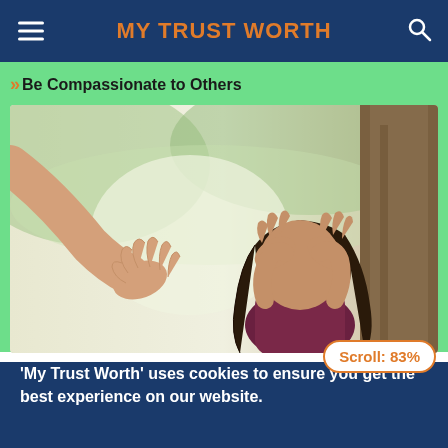MY TRUST WORTH
Be Compassionate to Others
[Figure (photo): A person extending a helping hand toward a distressed young woman who has her hands on her head, sitting outdoors near a tree.]
Scroll: 83%
'My Trust Worth' uses cookies to ensure you get the best experience on our website.
Okay!